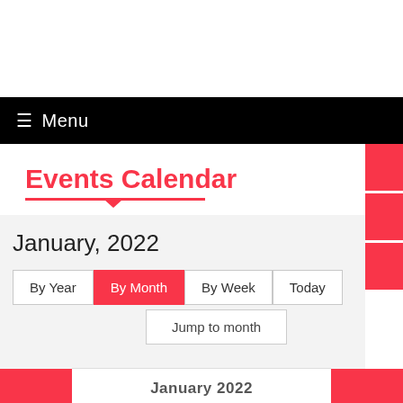☰ Menu
Events Calendar
January, 2022
By Year | By Month | By Week | Today
Jump to month
January 2022
Mon  Tue  Wed  Thu  Fri  Sat  Sun